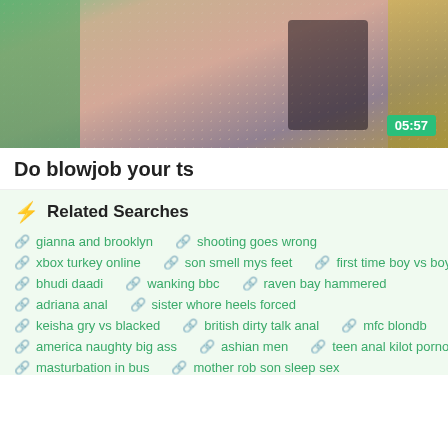[Figure (photo): Video thumbnail showing adult content with green hair and fishnet, timestamp 05:57 in green badge]
Do blowjob your ts
⚡ Related Searches
gianna and brooklyn
shooting goes wrong
xbox turkey online
son smell mys feet
first time boy vs boy
bhudi daadi
wanking bbc
raven bay hammered
adriana anal
sister whore heels forced
keisha gry vs blacked
british dirty talk anal
mfc blondb
america naughty big ass
ashian men
teen anal kilot porno
masturbation in bus
mother rob son sleep sex